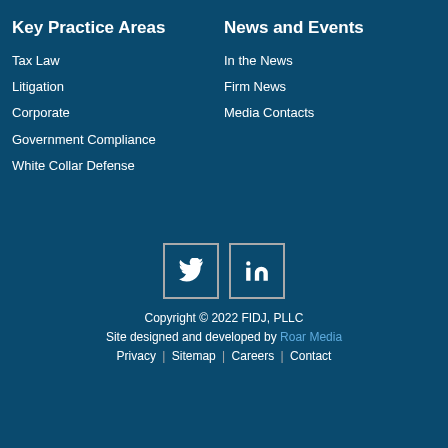Key Practice Areas
Tax Law
Litigation
Corporate
Government Compliance
White Collar Defense
News and Events
In the News
Firm News
Media Contacts
[Figure (illustration): Twitter and LinkedIn social media icon buttons]
Copyright © 2022 FIDJ, PLLC
Site designed and developed by Roar Media
Privacy | Sitemap | Careers | Contact